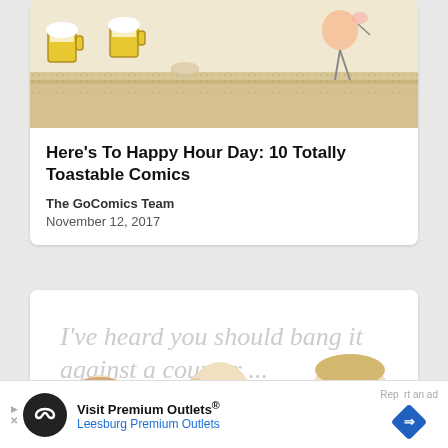[Figure (illustration): Comic strip image showing cartoon characters at a bar with beer mugs, dotted brown bar counter background]
Here's To Happy Hour Day: 10 Totally Toastable Comics
The GoComics Team
November 12, 2017
[Figure (illustration): Comic strip panel showing three characters, with text 'I've heard you should bang it against a counter ...' in large gray letters]
Visit Premium Outlets® Leesburg Premium Outlets